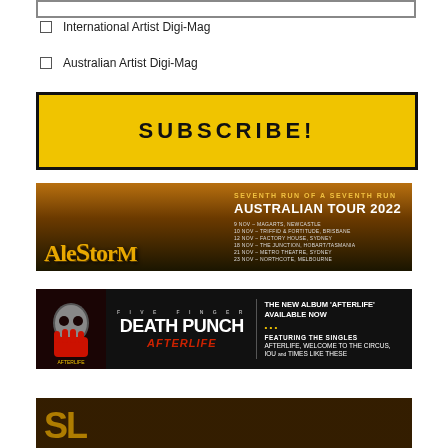International Artist Digi-Mag
Australian Artist Digi-Mag
SUBSCRIBE!
[Figure (photo): Alestorm Australian Tour 2022 banner — Seventh Run of a Seventh Run]
[Figure (photo): Five Finger Death Punch — Afterlife album promotional banner — The new album 'Afterlife' available now featuring the singles Afterlife, Welcome to the Circus, IOU and Times Like These]
[Figure (photo): Partial view of a third band promotional banner at bottom of page]